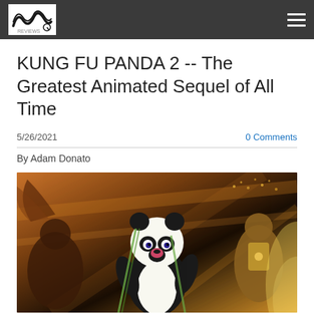[Logo] [Hamburger menu]
KUNG FU PANDA 2 -- The Greatest Animated Sequel of All Time
5/26/2021    0 Comments
By Adam Donato
[Figure (photo): Scene from Kung Fu Panda 2 showing Po the panda in action pose with dramatic lighting and orange/brown color palette]